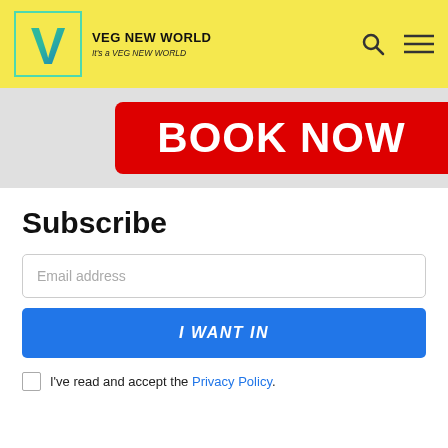VEG NEW WORLD — It's a VEG NEW WORLD
[Figure (screenshot): BOOK NOW red banner with rounded left edge on grey background]
Subscribe
Email address
I WANT IN
I've read and accept the Privacy Policy.